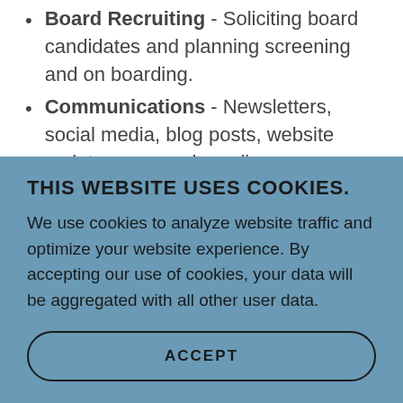Board Recruiting - Soliciting board candidates and planning screening and on boarding.
Communications - Newsletters, social media, blog posts, website maintenance and email messages
Event Planning - Plans and implements BCN events to help reach our goals
THIS WEBSITE USES COOKIES.
We use cookies to analyze website traffic and optimize your website experience. By accepting our use of cookies, your data will be aggregated with all other user data.
ACCEPT